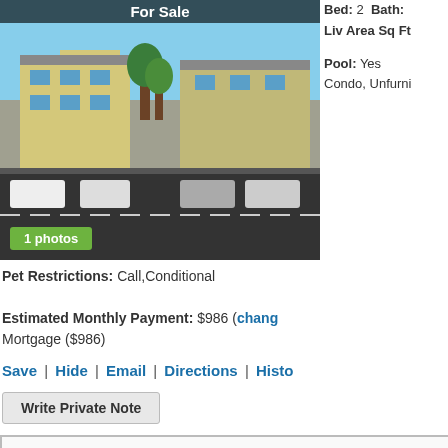[Figure (photo): Exterior photo of a condo complex with parking lot, labeled 'For Sale' at top and '1 photos' badge at bottom left]
Bed: 2  Bath:
Liv Area Sq Ft
Pool: Yes
Condo, Unfurni
Pet Restrictions: Call,Conditional
Estimated Monthly Payment: $986 (chang Mortgage ($986)
Save | Hide | Email | Directions | Histo
Write Private Note
Taxes:
Elementary School: None
High School: None
Remarks: Stop shoveling snow and buy y newly painted condo is nestled near lots o colleges, entertainment, beaches and both your towel and relax by the pool! This con residence laundry. Mystic Gardens has re landscaping and paving. Call and schedul long. Seller has 14 units for sale and can are rented. Don't miss out on this great inv
Listing is courtesy of: Spason Realty 0